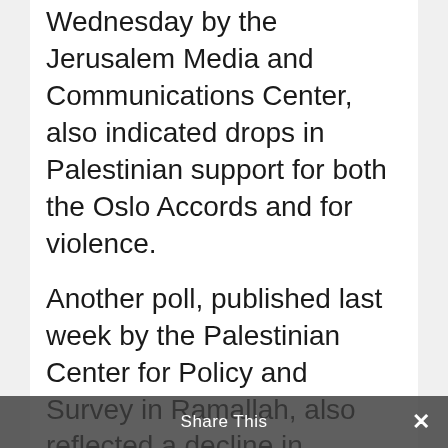Wednesday by the Jerusalem Media and Communications Center, also indicated drops in Palestinian support for both the Oslo Accords and for violence.
Another poll, published last week by the Palestinian Center for Policy and Survey in Ramallah, also reflected a decline in Palestinians’ support for Hamas.
Wednesday’s poll, which was based on a sample of 1,179 people over the age of 18 and has a 3 percentage point margin of error, found that more than 80 percent of Palestinians
Share This